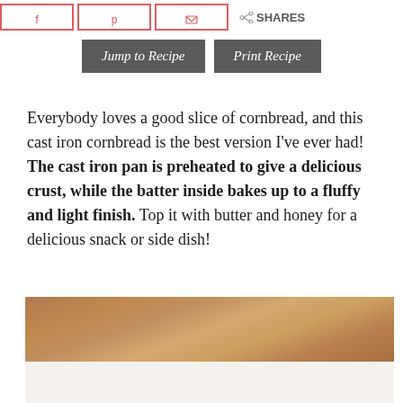Social share buttons: Facebook, Pinterest, Email, Shares
Jump to Recipe | Print Recipe
Everybody loves a good slice of cornbread, and this cast iron cornbread is the best version I've ever had! The cast iron pan is preheated to give a delicious crust, while the batter inside bakes up to a fluffy and light finish. Top it with butter and honey for a delicious snack or side dish!
[Figure (photo): Close-up photo of cornbread in a cast iron pan, showing golden-brown crust on top and a light-colored lower portion]